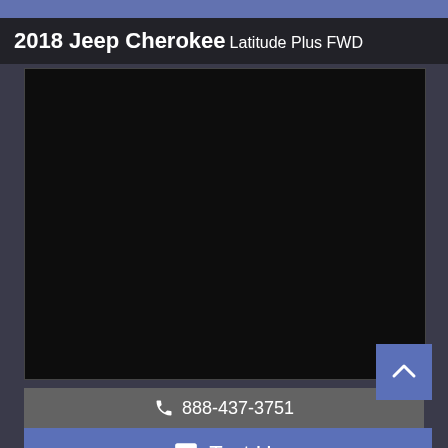2018 Jeep Cherokee Latitude Plus FWD
[Figure (photo): Dark/black image area showing vehicle photo placeholder]
888-437-3751
Text Us